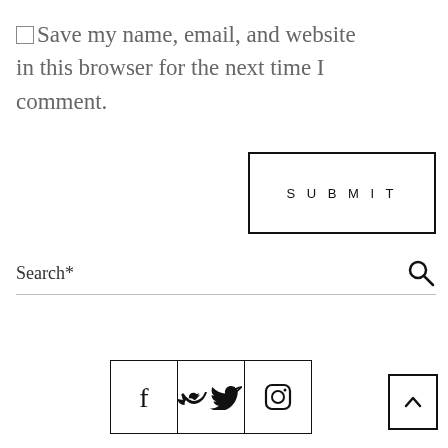□Save my name, email, and website in this browser for the next time I comment.
SUBMIT
Search*
[Figure (other): Social media icons row: Facebook (f), Twitter (bird), Instagram (camera), with a back-to-top arrow button on the right]